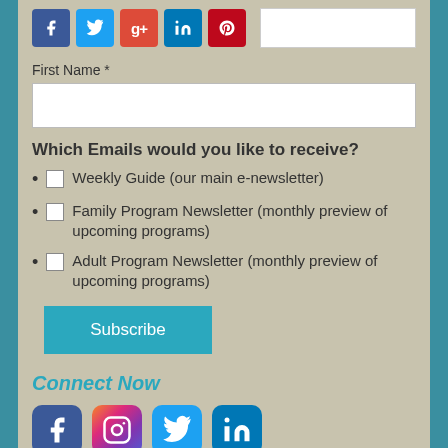[Figure (other): Social share buttons row: Facebook (dark blue), Twitter (light blue), Google+ (red), LinkedIn (blue), Pinterest (red), and a white input box]
First Name *
[Figure (other): White input text field for First Name]
Which Emails would you like to receive?
Weekly Guide (our main e-newsletter)
Family Program Newsletter (monthly preview of upcoming programs)
Adult Program Newsletter (monthly preview of upcoming programs)
[Figure (other): Subscribe button (teal)]
Connect Now
[Figure (other): Social media icons: Facebook, Instagram, Twitter, LinkedIn]